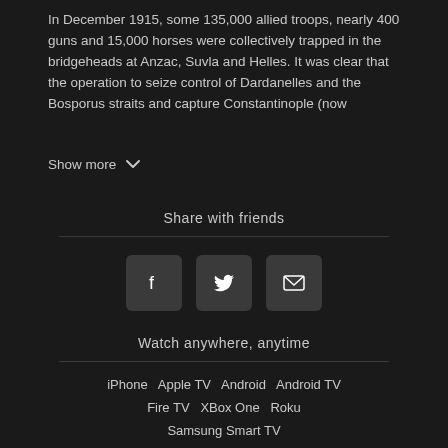In December 1915, some 135,000 allied troops, nearly 400 guns and 15,000 horses were collectively trapped in the bridgeheads at Anzac, Suvla and Helles. It was clear that the operation to seize control of Dardanelles and the Bosporus straits and capture Constantinople (now
Show more
Share with friends
[Figure (infographic): Three square social sharing buttons: Facebook (f icon), Twitter (bird icon), Email (envelope icon)]
Watch anywhere, anytime
iPhone   Apple TV   Android   Android TV   Fire TV   XBox One   Roku   Samsung Smart TV